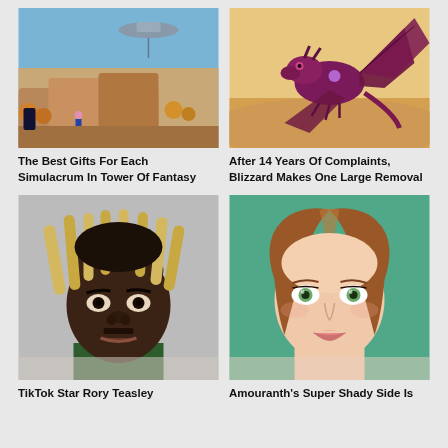[Figure (screenshot): Video game screenshot showing a sci-fi landscape with a large floating structure, rocky terrain, and autumn-colored trees, a character visible in the scene]
[Figure (screenshot): Video game screenshot showing a purple dragon with large wings flying against a warm sunset sky]
The Best Gifts For Each Simulacrum In Tower Of Fantasy
After 14 Years Of Complaints, Blizzard Makes One Large Removal
[Figure (photo): Mugshot-style photo of TikTok star Rory Teasley, a Black man with blonde dreadlocks and a green shirt]
[Figure (photo): Portrait photo of Amouranth, a young white woman with auburn hair and green eyes against a teal background]
TikTok Star Rory Teasley
Amouranth's Super Shady Side Is